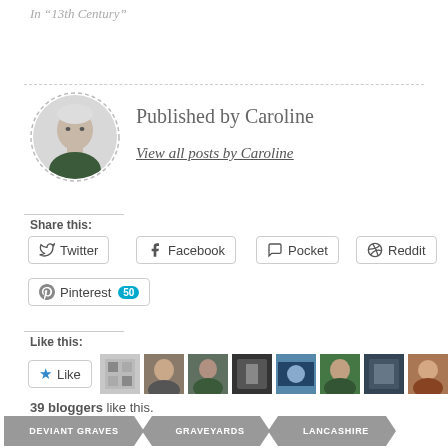In “13th Century”
Published by Caroline
View all posts by Caroline
Share this:
Twitter
Facebook
Pocket
Reddit
Pinterest 50
Like this:
39 bloggers like this.
DEVIANT GRAVES
GRAVEYARDS
LANCASHIRE